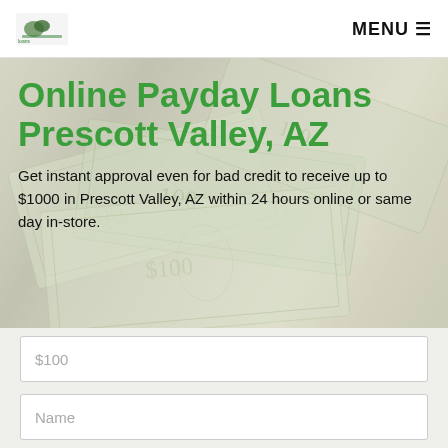MENU ☰
[Figure (screenshot): Website hero section showing scattered US dollar bills in the background, with green title text 'Online Payday Loans Prescott Valley, AZ' and descriptive body text below]
Online Payday Loans Prescott Valley, AZ
Get instant approval even for bad credit to receive up to $1000 in Prescott Valley, AZ within 24 hours online or same day in-store.
$100
Name